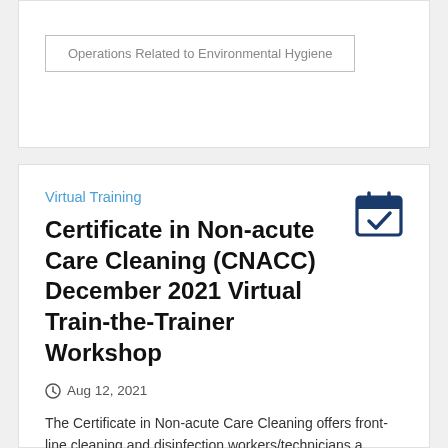Operations Related to Environmental Hygiene
Virtual Training
Certificate in Non-acute Care Cleaning (CNACC) December 2021 Virtual Train-the-Trainer Workshop
Aug 12, 2021
The Certificate in Non-acute Care Cleaning offers front-line cleaning and disinfection workers/technicians a thorough educational opportunity on cleaning in the healthcare environment outside of acute care settings. This includes areas such as outpatient, long-term care and behavioral health…